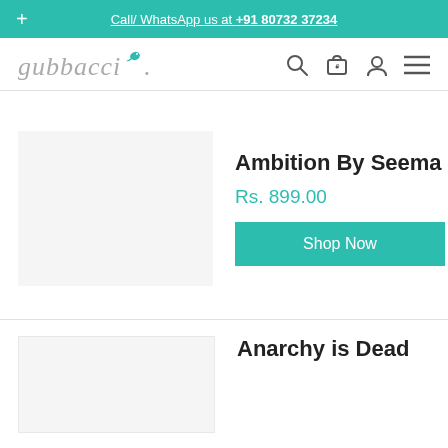+ Call/ WhatsApp us at +91 80732 37234
[Figure (logo): Gubbacci logo with stylized italic text and teal bird icon]
Ambition By Seema
Rs. 899.00
Shop Now
Anarchy is Dead